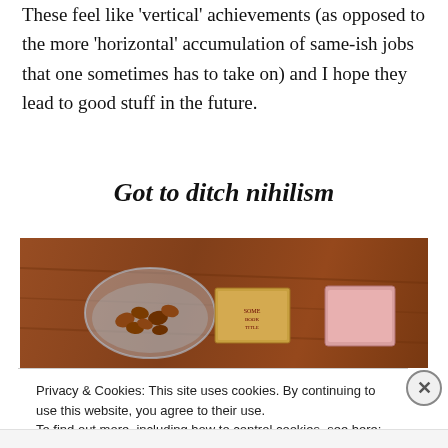These feel like 'vertical' achievements (as opposed to the more 'horizontal' accumulation of same-ish jobs that one sometimes has to take on) and I hope they lead to good stuff in the future.
Got to ditch nihilism
[Figure (photo): Photo of a wooden table surface with a glass bowl of nuts, a small book or card with text, and a pink box or book.]
Privacy & Cookies: This site uses cookies. By continuing to use this website, you agree to their use.
To find out more, including how to control cookies, see here: Cookie Policy
Close and accept